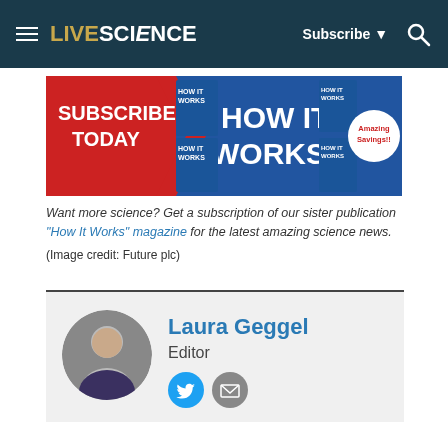LIVE SCIENCE — Subscribe ▼ 🔍
[Figure (illustration): How It Works magazine subscription banner ad with red 'SUBSCRIBE TODAY' text, magazine covers, and 'Amazing Savings!!' circle badge on blue background]
Want more science? Get a subscription of our sister publication "How It Works" magazine for the latest amazing science news.
(Image credit: Future plc)
Laura Geggel
Editor